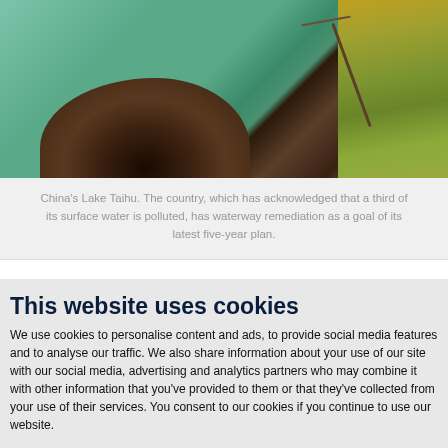[Figure (photo): Aerial/ground photo of China's Lake Taihu shoreline showing turquoise-green water, dark rocky/muddy bank, and green grassy reeds/vegetation on the right side]
China's Lake Taihu. The country, which has acknowledged that a third of its surface water is polluted, has waterway remediation as a goal of its latest five-year plan.
Decentralized treatment ideally suited for plan's focus on rural waterway remediation
This website uses cookies
We use cookies to personalise content and ads, to provide social media features and to analyse our traffic. We also share information about your use of our site with our social media, advertising and analytics partners who may combine it with other information that you've provided to them or that they've collected from your use of their services. You consent to our cookies if you continue to use our website.